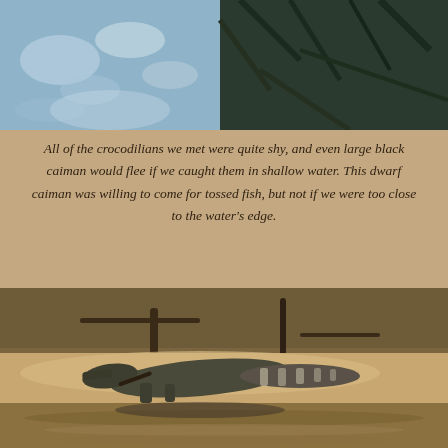[Figure (photo): Top portion of a nature photograph showing tree branches and sky reflected in water, dark tones with blue-grey tints]
All of the crocodilians we met were quite shy, and even large black caiman would flee if we caught them in shallow water. This dwarf caiman was willing to come for tossed fish, but not if we were too close to the water's edge.
[Figure (photo): A dwarf caiman resting on a sandy riverbank at the water's edge, with muddy brown river water in the foreground and dry leaf litter and roots in the background]